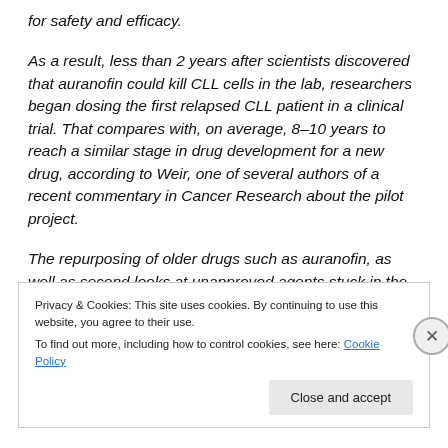for safety and efficacy.
As a result, less than 2 years after scientists discovered that auranofin could kill CLL cells in the lab, researchers began dosing the first relapsed CLL patient in a clinical trial. That compares with, on average, 8–10 years to reach a similar stage in drug development for a new drug, according to Weir, one of several authors of a recent commentary in Cancer Research about the pilot project.
The repurposing of older drugs such as auranofin, as well as second looks at unapproved agents stuck in the
Privacy & Cookies: This site uses cookies. By continuing to use this website, you agree to their use.
To find out more, including how to control cookies, see here: Cookie Policy